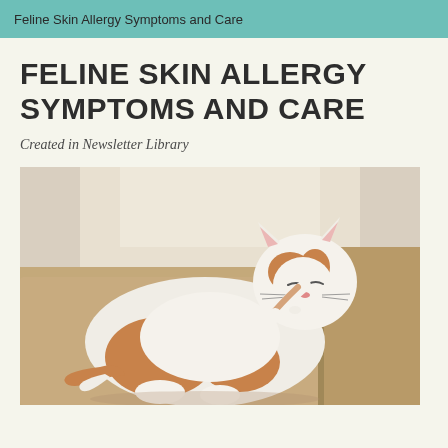Feline Skin Allergy Symptoms and Care
FELINE SKIN ALLERGY SYMPTOMS AND CARE
Created in Newsletter Library
[Figure (photo): An orange and white cat lying on a beige sofa, scratching its neck with its hind leg, eyes closed contentedly.]